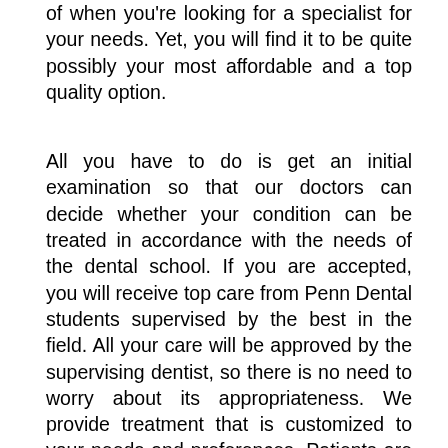Going to a dental school is not often the first thing you think of when you're looking for a specialist for your needs. Yet, you will find it to be quite possibly your most affordable and a top quality option.
All you have to do is get an initial examination so that our doctors can decide whether your condition can be treated in accordance with the needs of the dental school. If you are accepted, you will receive top care from Penn Dental students supervised by the best in the field. All your care will be approved by the supervising dentist, so there is no need to worry about its appropriateness. We provide treatment that is customized to your needs and preferences. Patients are charged a reasonable fee in order to cover the operating costs of the clinic. In this way, you avoid huge charges for expensive treatment and will pay only what is needed for your treatment. Our goal is education, and so you will be contributing to our students´ education to become the next generation to lead in the field of dentistry.
Here we will give you some general information about the differences between private practice and what is a dental clinic, and explain some of the more common dental treatments we